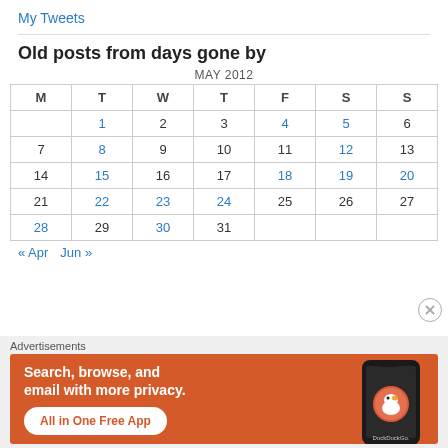My Tweets
Old posts from days gone by
| M | T | W | T | F | S | S |
| --- | --- | --- | --- | --- | --- | --- |
|  | 1 | 2 | 3 | 4 | 5 | 6 |
| 7 | 8 | 9 | 10 | 11 | 12 | 13 |
| 14 | 15 | 16 | 17 | 18 | 19 | 20 |
| 21 | 22 | 23 | 24 | 25 | 26 | 27 |
| 28 | 29 | 30 | 31 |  |  |  |
« Apr   Jun »
[Figure (other): DuckDuckGo advertisement banner: orange background with text 'Search, browse, and email with more privacy. All in One Free App' and a phone image showing the DuckDuckGo app logo.]